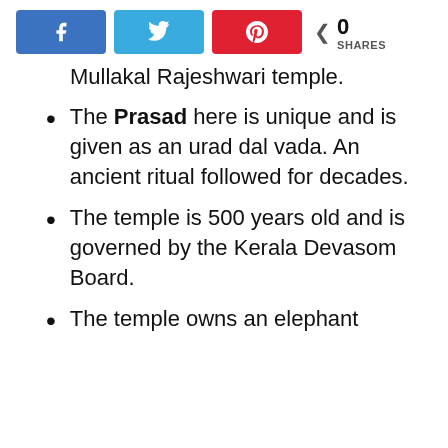[Figure (screenshot): Social share buttons: Facebook (blue), Twitter (light blue), Pinterest (red), and a share count showing 0 SHARES]
Mullakal Rajeshwari temple.
The Prasad here is unique and is given as an urad dal vada. An ancient ritual followed for decades.
The temple is 500 years old and is governed by the Kerala Devasom Board.
The temple owns an elephant